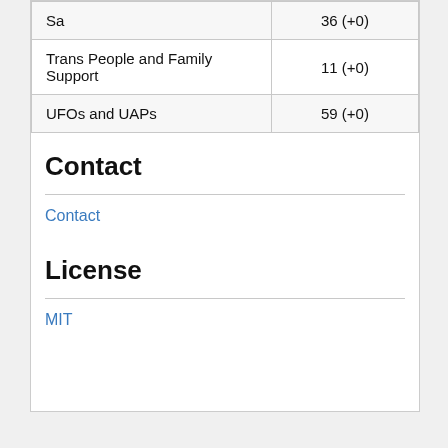| Sa | 36 (+0) |
| Trans People and Family Support | 11 (+0) |
| UFOs and UAPs | 59 (+0) |
Contact
Contact
License
MIT